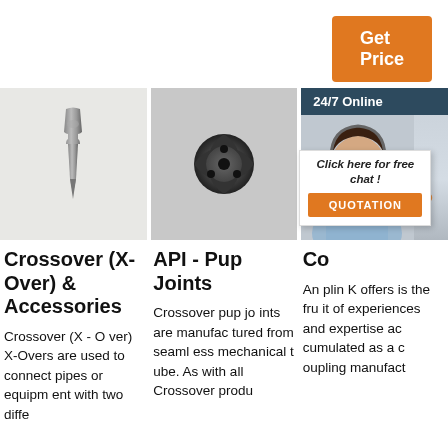Get Price
[Figure (photo): Crossover pin/tool part, elongated tapered metal piece on light background]
[Figure (photo): API drill bit / pup joint end view, dark metallic part with holes, on grey background]
[Figure (photo): Customer service representative, woman with headset, 24/7 Online badge and chat popup overlay]
Crossover (X- Over) & Accessories
Crossover (X - Over) X-Overs are used to connect pipes or equipm ent with two diffe
API - Pup Joints
Crossover pup jo ints are manufac tured from seaml ess mechanical t ube. As with all Crossover produ
Co
An plin K offers is the fru it of experiences and expertise ac cumulated as a c oupling manufact